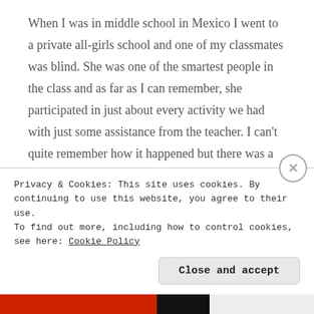When I was in middle school in Mexico I went to a private all-girls school and one of my classmates was blind. She was one of the smartest people in the class and as far as I can remember, she participated in just about every activity we had with just some assistance from the teacher. I can't quite remember how it happened but there was a news story about her and her achievements in school and she tried to make her case to the interviewer that what she really needed to further succeed was a computer for blind people. I remember that she was upset later
Privacy & Cookies: This site uses cookies. By continuing to use this website, you agree to their use.
To find out more, including how to control cookies, see here: Cookie Policy
Close and accept